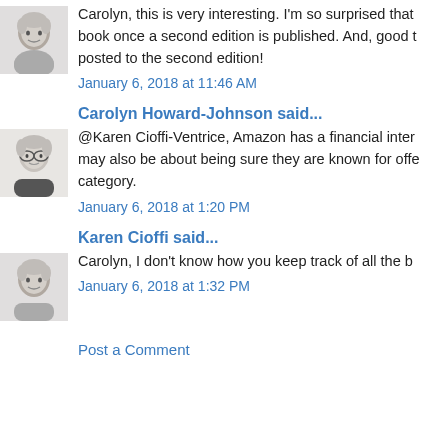[Figure (illustration): Avatar of a person with short gray hair]
Carolyn, this is very interesting. I'm so surprised that book once a second edition is published. And, good t posted to the second edition!
January 6, 2018 at 11:46 AM
[Figure (illustration): Avatar of a person with glasses and short gray hair]
Carolyn Howard-Johnson said...
@Karen Cioffi-Ventrice, Amazon has a financial inter may also be about being sure they are known for offe category.
January 6, 2018 at 1:20 PM
[Figure (illustration): Avatar of a person with short gray hair]
Karen Cioffi said...
Carolyn, I don't know how you keep track of all the b
January 6, 2018 at 1:32 PM
Post a Comment